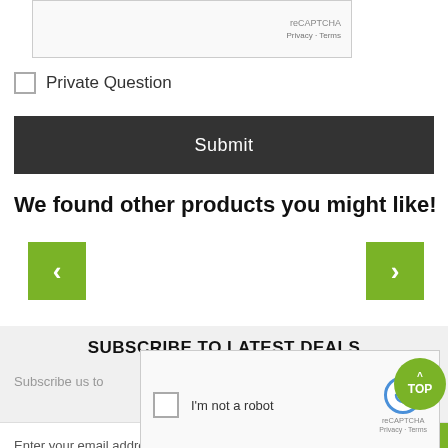[Figure (screenshot): reCAPTCHA widget box at top with reCAPTCHA label and Privacy/Terms links]
Private Question
Submit
We found other products you might like!
[Figure (other): Left navigation arrow button (green)]
[Figure (other): Right navigation arrow button (green)]
SUBSCRIBE TO LATEST DEALS
Subscribe us to
[Figure (screenshot): reCAPTCHA widget overlay with checkbox, I'm not a robot text, reCAPTCHA logo, Privacy and Terms links]
[Figure (other): TOP button (green circular button)]
Enter your email address
SUBSCRIBE